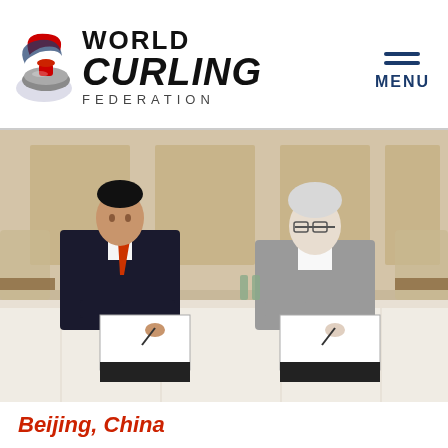[Figure (logo): World Curling Federation logo with curling stone icon and text]
[Figure (photo): Two people seated at a table signing documents in a formal meeting room in Beijing, China]
Beijing, China